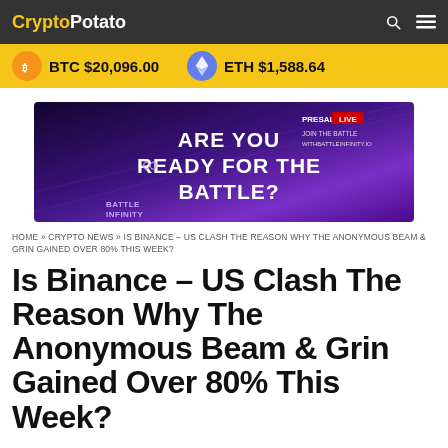CryptoPotato
BTC $20,096.00   ETH $1,588.64
[Figure (illustration): Battle Infinity advertisement banner: purple/dark background with text 'ARE YOU READY FOR THE BATTLE?' and 'PRESALE LIVE JOIN THE BATTLE WITH BATTLEINFINITY.IO' and 'BATTLE INFINITY' logo]
HOME » CRYPTO NEWS » IS BINANCE – US CLASH THE REASON WHY THE ANONYMOUS BEAM & GRIN GAINED OVER 80% THIS WEEK?
Is Binance – US Clash The Reason Why The Anonymous Beam & Grin Gained Over 80% This Week?